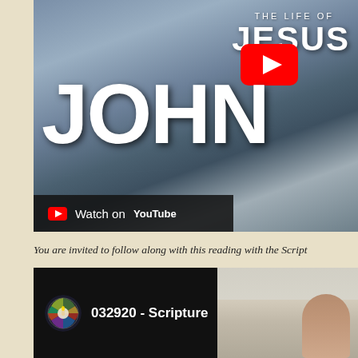[Figure (screenshot): YouTube video thumbnail for 'The Life of Jesus - John' showing rocky landscape background with large white text 'THE LIFE OF JESUS' and 'JOHN' overlaid, with a YouTube play button icon and 'Watch on YouTube' bar at bottom]
You are invited to follow along with this reading with the Script...
[Figure (screenshot): YouTube video preview showing channel icon and title '032920 - Scripture' on dark background with a room/interior visible on the right side]